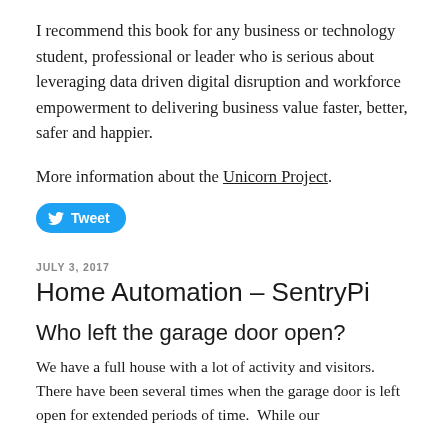I recommend this book for any business or technology student, professional or leader who is serious about leveraging data driven digital disruption and workforce empowerment to delivering business value faster, better, safer and happier.
More information about the Unicorn Project.
[Figure (other): Twitter Tweet button (blue pill-shaped button with Twitter bird icon and 'Tweet' text)]
JULY 3, 2017
Home Automation – SentryPi
Who left the garage door open?
We have a full house with a lot of activity and visitors. There have been several times when the garage door is left open for extended periods of time. While our